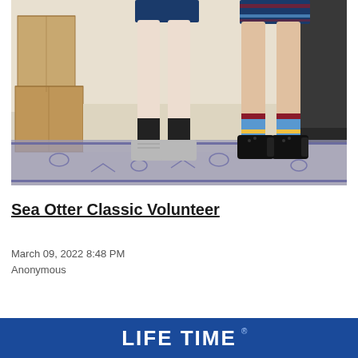[Figure (photo): Photo showing the lower legs and feet of two people standing side by side. Left person wears blue cycling shorts, black socks, and gray athletic shoes. Right person wears blue cycling shorts with maroon/blue accent bands, colorful blue/red/yellow socks, and black Converse-style shoes. Cardboard boxes are visible on the left side. A decorative rug is visible on the floor. A dark step/ledge is on the right side.]
Sea Otter Classic Volunteer
March 09, 2022 8:48 PM
Anonymous
[Figure (logo): LIFE TIME logo in white text on blue background banner]